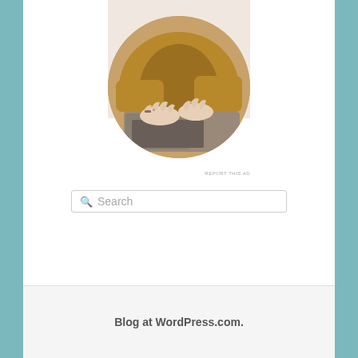[Figure (photo): A person wearing a mustard/golden brown sweater typing on a laptop, viewed from above, with hands visible on the keyboard. The image is shown in a circular crop format with a light beige/cream background rectangle above.]
REPORT THIS AD
Search
Blog at WordPress.com.